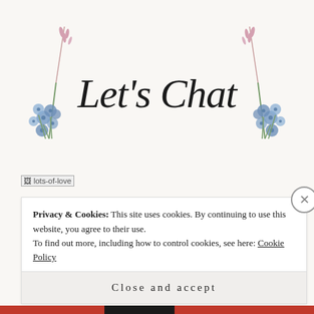[Figure (illustration): Let's Chat decorative header with watercolor blue flowers and pink grass/wheat stems on both sides of cursive script text 'Let's Chat']
[Figure (photo): Broken image placeholder labeled 'lots-of-love']
FOLLOW ME!
Privacy & Cookies: This site uses cookies. By continuing to use this website, you agree to their use. To find out more, including how to control cookies, see here: Cookie Policy
Close and accept